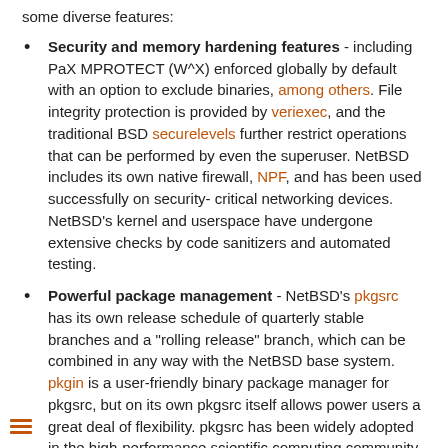some diverse features:
Security and memory hardening features - including PaX MPROTECT (W^X) enforced globally by default with an option to exclude binaries, among others. File integrity protection is provided by veriexec, and the traditional BSD securelevels further restrict operations that can be performed by even the superuser. NetBSD includes its own native firewall, NPF, and has been used successfully on security-critical networking devices. NetBSD's kernel and userspace have undergone extensive checks by code sanitizers and automated testing.
Powerful package management - NetBSD's pkgsrc has its own release schedule of quarterly stable branches and a "rolling release" branch, which can be combined in any way with the NetBSD base system. pkgin is a user-friendly binary package manager for pkgsrc, but on its own pkgsrc itself allows power users a great deal of flexibility. pkgsrc has been widely adopted in the high-performance scientific computing community, including at NASA, and supports other platforms, but NetBSD is prioritized.
Modern storage capabilities - including the ZFS file system, RAIDframe software RAID system, and cgd